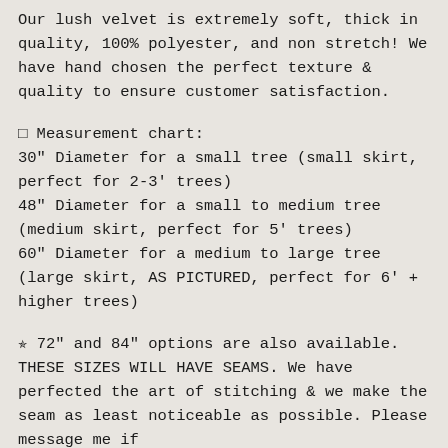Our lush velvet is extremely soft, thick in quality, 100% polyester, and non stretch! We have hand chosen the perfect texture & quality to ensure customer satisfaction.
✦ Measurement chart:
30" Diameter for a small tree (small skirt, perfect for 2-3' trees)
48" Diameter for a small to medium tree (medium skirt, perfect for 5' trees)
60" Diameter for a medium to large tree (large skirt, AS PICTURED, perfect for 6' + higher trees)
✻ 72" and 84" options are also available. THESE SIZES WILL HAVE SEAMS. We have perfected the art of stitching & we make the seam as least noticeable as possible. Please message me if